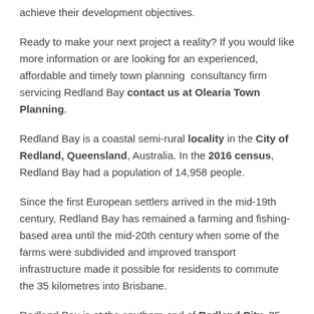achieve their development objectives.
Ready to make your next project a reality? If you would like more information or are looking for an experienced, affordable and timely town planning consultancy firm servicing Redland Bay contact us at Olearia Town Planning.
Redland Bay is a coastal semi-rural locality in the City of Redland, Queensland, Australia. In the 2016 census, Redland Bay had a population of 14,958 people.
Since the first European settlers arrived in the mid-19th century, Redland Bay has remained a farming and fishing-based area until the mid-20th century when some of the farms were subdivided and improved transport infrastructure made it possible for residents to commute the 35 kilometres into Brisbane.
Redland Bay is at the southern end of Redland City, 35 kilometres south-east of Brisbane, the capital of Queensland. The locality is named for the bay it sits on, which forms part of larger Moreton Bay.
The redness of Redland Bay soil derives from iron oxides present in lava from a volcano that erupted